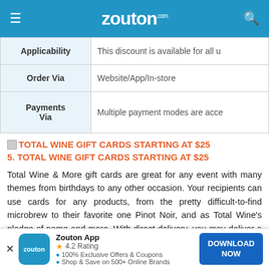zouton.com
| Field | Value |
| --- | --- |
| Applicability | This discount is available for all u |
| Order Via | Website/App/In-store |
| Payments Via | Multiple payment modes are acce |
TOTAL WINE GIFT CARDS STARTING AT $25
5. TOTAL WINE GIFT CARDS STARTING AT $25
Total Wine & More gift cards are great for any event with many themes from birthdays to any other occasion. Your recipients can use cards for any products, from the pretty difficult-to-find microbrew to their favorite one Pinot Noir, and as Total Wine's pledge of name and more. With direct delivery, you may deliver a gift card directly to the recipient's door.
| Field | Value |
| --- | --- |
| Min... |  |